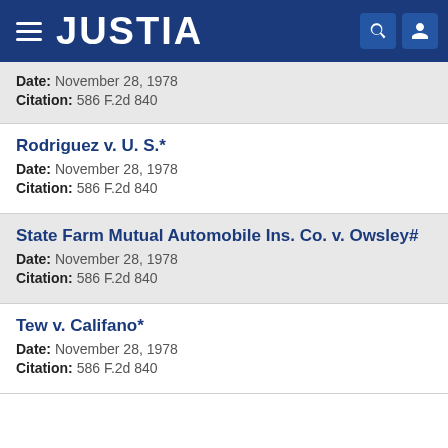JUSTIA
Date: November 28, 1978
Citation: 586 F.2d 840
Rodriguez v. U. S.*
Date: November 28, 1978
Citation: 586 F.2d 840
State Farm Mutual Automobile Ins. Co. v. Owsley#
Date: November 28, 1978
Citation: 586 F.2d 840
Tew v. Califano*
Date: November 28, 1978
Citation: 586 F.2d 840